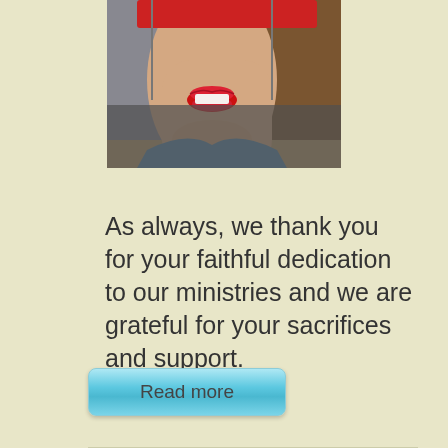[Figure (photo): Partial view of a person's face, cropped to show nose and lips area with a red blindfold/band across the eyes. Background shows a blurred room with brown and gray tones. Bottom portion shows a gray/dark overlay.]
As always, we thank you for your faithful dedication to our ministries and we are grateful for your sacrifices and support.
Read more